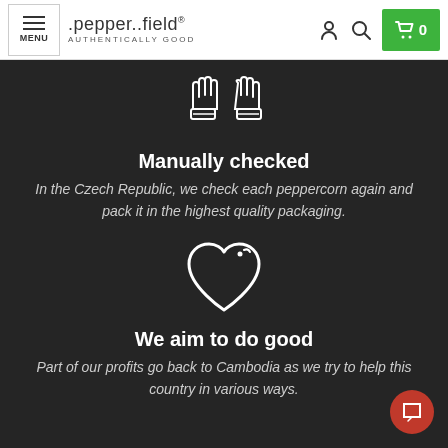MENU | .pepper..field® AUTHENTICALLY GOOD | [user icon] [search icon] [cart 0]
[Figure (illustration): White outline icon of two hands with cuffs on dark background]
Manually checked
In the Czech Republic, we check each peppercorn again and pack it in the highest quality packaging.
[Figure (illustration): White outline heart icon on dark background]
We aim to do good
Part of our profits go back to Cambodia as we try to help this country in various ways.